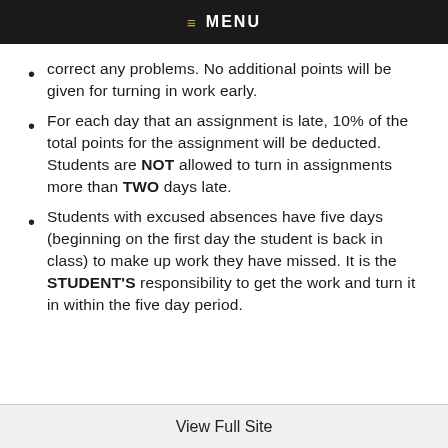≡ MENU
correct any problems. No additional points will be given for turning in work early.
For each day that an assignment is late, 10% of the total points for the assignment will be deducted. Students are NOT allowed to turn in assignments more than TWO days late.
Students with excused absences have five days (beginning on the first day the student is back in class) to make up work they have missed. It is the STUDENT'S responsibility to get the work and turn it in within the five day period.
View Full Site